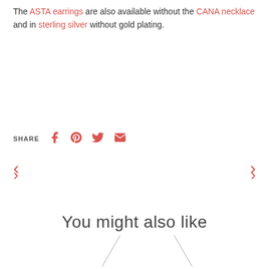The ASTA earrings are also available without the CANA necklace and in sterling silver without gold plating.
SHARE
[Figure (other): Social share icons: Facebook, Pinterest, Twitter, Email — rendered in salmon/red color]
< (previous navigation arrow)
> (next navigation arrow)
You might also like